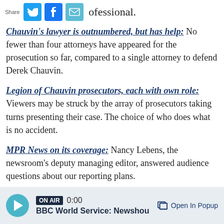…ofessional. [Share icons: Twitter, Facebook, Email]
Chauvin's lawyer is outnumbered, but has help: No fewer than four attorneys have appeared for the prosecution so far, compared to a single attorney to defend Derek Chauvin.
Legion of Chauvin prosecutors, each with own role: Viewers may be struck by the array of prosecutors taking turns presenting their case. The choice of who does what is no accident.
MPR News on its coverage: Nancy Lebens, the newsroom's deputy managing editor, answered audience questions about our reporting plans.
ON AIR 0:00 BBC World Service: Newshou — Open In Popup